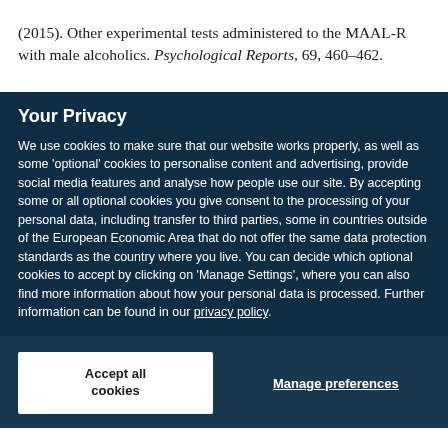(2015). Other experimental tests administered to the MAAL-R with male alcoholics. Psychological Reports, 69, 460–462.
Your Privacy
We use cookies to make sure that our website works properly, as well as some 'optional' cookies to personalise content and advertising, provide social media features and analyse how people use our site. By accepting some or all optional cookies you give consent to the processing of your personal data, including transfer to third parties, some in countries outside of the European Economic Area that do not offer the same data protection standards as the country where you live. You can decide which optional cookies to accept by clicking on 'Manage Settings', where you can also find more information about how your personal data is processed. Further information can be found in our privacy policy.
Accept all cookies
Manage preferences